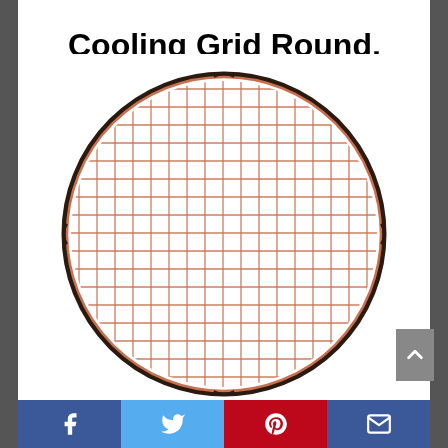Cooling Grid Round, One
[Figure (photo): A round copper/rose-gold wire cooling grid (baking rack) photographed from above on a white background. The rack is circular with a fine grid wire pattern and small feet/clips visible around the perimeter.]
Facebook | Twitter | Pinterest | Email (social share bar)